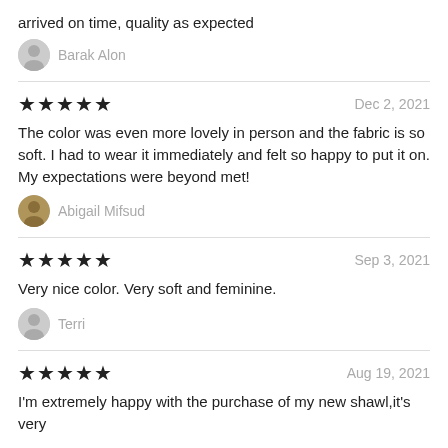arrived on time, quality as expected
Barak Alon
★★★★★  Dec 2, 2021
The color was even more lovely in person and the fabric is so soft. I had to wear it immediately and felt so happy to put it on. My expectations were beyond met!
Abigail Mifsud
★★★★★  Sep 3, 2021
Very nice color. Very soft and feminine.
Terri
★★★★★  Aug 19, 2021
I'm extremely happy with the purchase of my new shawl,it's very